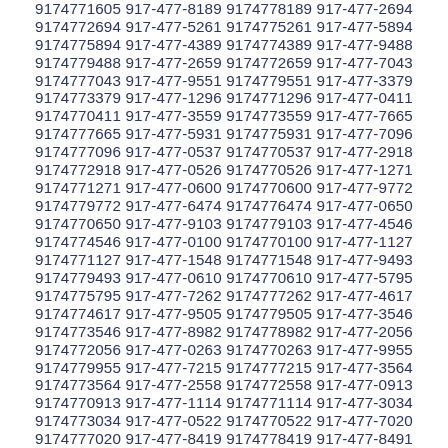9174771605 917-477-8189 9174778189 917-477-2694 9174772694 917-477-5261 9174775261 917-477-5894 9174775894 917-477-4389 9174774389 917-477-9488 9174779488 917-477-2659 9174772659 917-477-7043 9174777043 917-477-9551 9174779551 917-477-3379 9174773379 917-477-1296 9174771296 917-477-0411 9174770411 917-477-3559 9174773559 917-477-7665 9174777665 917-477-5931 9174775931 917-477-7096 9174777096 917-477-0537 9174770537 917-477-2918 9174772918 917-477-0526 9174770526 917-477-1271 9174771271 917-477-0600 9174770600 917-477-9772 9174779772 917-477-6474 9174776474 917-477-0650 9174770650 917-477-9103 9174779103 917-477-4546 9174774546 917-477-0100 9174770100 917-477-1127 9174771127 917-477-1548 9174771548 917-477-9493 9174779493 917-477-0610 9174770610 917-477-5795 9174775795 917-477-7262 9174777262 917-477-4617 9174774617 917-477-9505 9174779505 917-477-3546 9174773546 917-477-8982 9174778982 917-477-2056 9174772056 917-477-0263 9174770263 917-477-9955 9174779955 917-477-7215 9174777215 917-477-3564 9174773564 917-477-2558 9174772558 917-477-0913 9174770913 917-477-1114 9174771114 917-477-3034 9174773034 917-477-0522 9174770522 917-477-7020 9174777020 917-477-8419 9174778419 917-477-8491